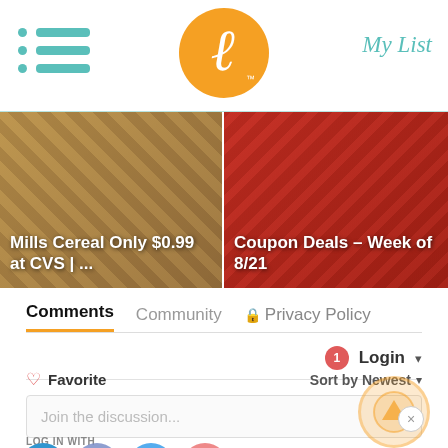My List — navigation header with logo
[Figure (screenshot): Article card: Mills Cereal Only $0.99 at CVS | ...]
[Figure (screenshot): Article card: Coupon Deals – Week of 8/21]
Comments  Community  🔒 Privacy Policy
1  Login ▾
♡ Favorite    Sort by Newest ▾
Join the discussion...
LOG IN WITH
OR SIGN UP WITH DISQUS ?